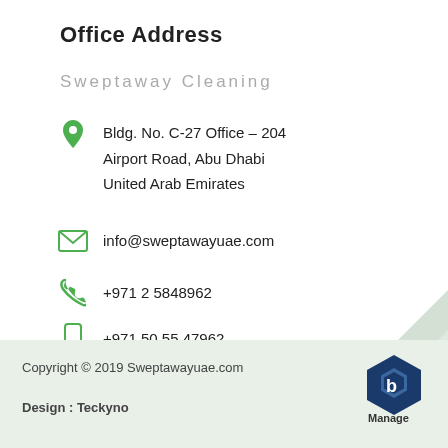Office Address
Sweptaway Cleaning
Bldg. No. C-27 Office – 204
Airport Road, Abu Dhabi
United Arab Emirates
info@sweptawayuae.com
+971 2 5848962
+971 50 55 47962
Friday : Closed
Copyright © 2019 Sweptawayuae.com
Design : Teckyno